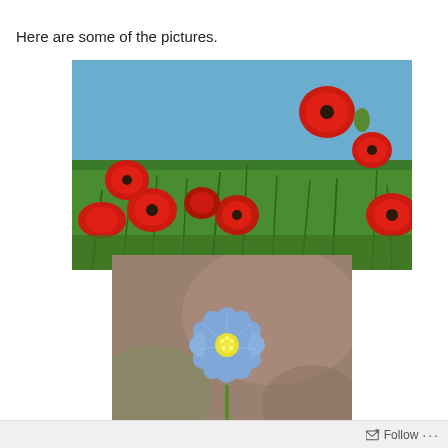Here are some of the pictures.
[Figure (photo): Field of red poppies against a blue sky, photographed from ground level looking up.]
[Figure (photo): Close-up of a single blue flower (flax) with yellow center against a blurred brown/green background.]
Follow ...